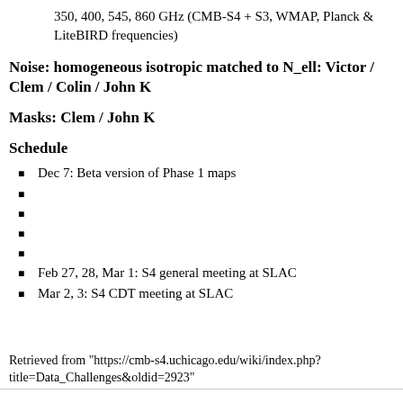350, 400, 545, 860 GHz (CMB-S4 + S3, WMAP, Planck & LiteBIRD frequencies)
Noise: homogeneous isotropic matched to N_ell: Victor / Clem / Colin / John K
Masks: Clem / John K
Schedule
Dec 7: Beta version of Phase 1 maps
Feb 27, 28, Mar 1: S4 general meeting at SLAC
Mar 2, 3: S4 CDT meeting at SLAC
Retrieved from "https://cmb-s4.uchicago.edu/wiki/index.php?title=Data_Challenges&oldid=2923"